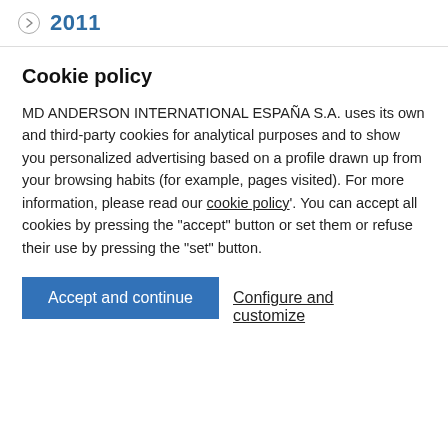2011
Cookie policy
MD ANDERSON INTERNATIONAL ESPAÑA S.A. uses its own and third-party cookies for analytical purposes and to show you personalized advertising based on a profile drawn up from your browsing habits (for example, pages visited). For more information, please read our cookie policy'. You can accept all cookies by pressing the "accept" button or set them or refuse their use by pressing the "set" button.
Accept and continue
Configure and customize